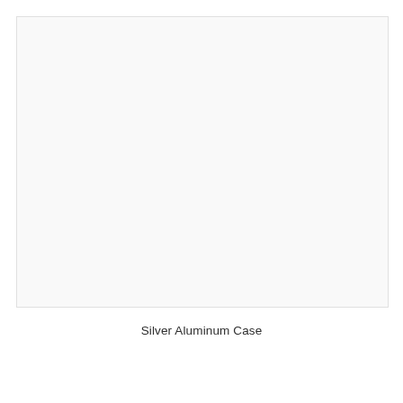[Figure (photo): Product photo area showing a silver aluminum case — image content is blank/white in this rendering]
Silver Aluminum Case